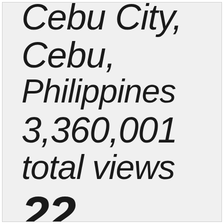Cebu City, Cebu, Philippines 3,360,001 total views 22 [continues]